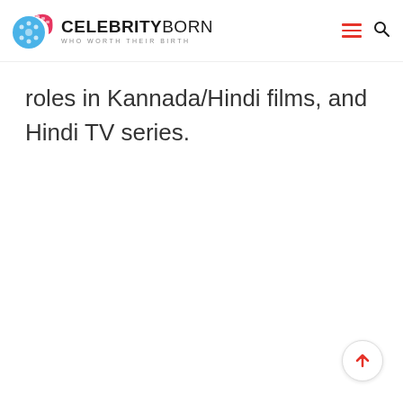CELEBRITYBORN — WHO WORTH THEIR BIRTH
roles in Kannada/Hindi films, and Hindi TV series.